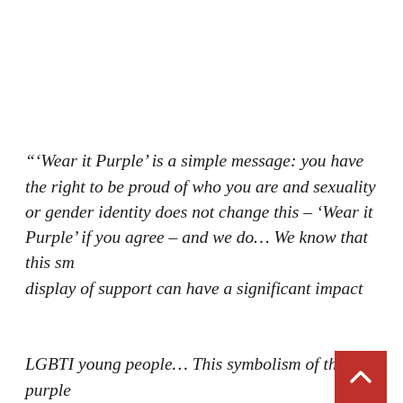“‘Wear it Purple’ is a simple message: you have the right to be proud of who you are and sexuality or gender identity does not change this – ‘Wear it Purple’ if you agree – and we do… We know that this small display of support can have a significant impact on LGBTI young people… This symbolism of the purple